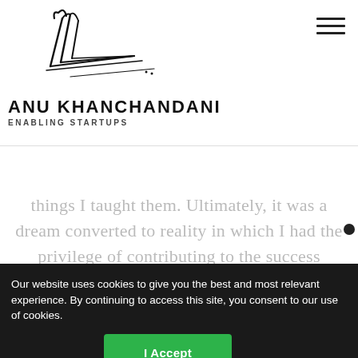[Figure (logo): Handwritten signature/logo in black ink on white background, resembling an artistic calligraphic signature with lines and curves]
[Figure (other): Hamburger menu icon — three horizontal black lines stacked vertically in the top right corner]
ANU KHANCHANDANI
ENABLING STARTUPS
things I taught them. Ultimately, it was a dream converted to reality in which I had the privilege of contributing to the success
Our website uses cookies to give you the best and most relevant experience. By continuing to access this site, you consent to our use of cookies.
I Accept
Beautiful is not adequate to express the quality of service provided by Anu. All aspects have been handled very professionally. Her biggest strength has been the
ERROR for invalid d...